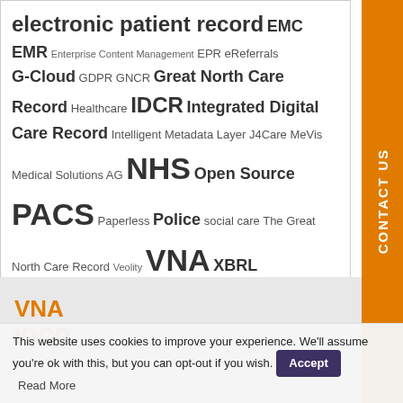electronic patient record EMC EMR Enterprise Content Management EPR eReferrals G-Cloud GDPR GNCR Great North Care Record Healthcare IDCR Integrated Digital Care Record Intelligent Metadata Layer J4Care MeVis Medical Solutions AG NHS Open Source PACS Paperless Police social care The Great North Care Record Veolity VNA XBRL
VNA
IDCR
This website uses cookies to improve your experience. We'll assume you're ok with this, but you can opt-out if you wish.  Accept  Read More